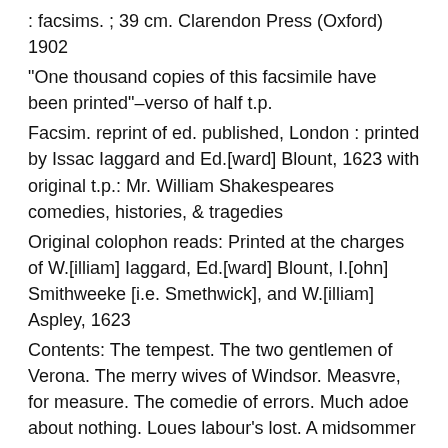: facsims. ; 39 cm. Clarendon Press (Oxford) 1902
"One thousand copies of this facsimile have been printed"–verso of half t.p.
Facsim. reprint of ed. published, London : printed by Issac Iaggard and Ed.[ward] Blount, 1623 with original t.p.: Mr. William Shakespeares comedies, histories, & tragedies
Original colophon reads: Printed at the charges of W.[illiam] Iaggard, Ed.[ward] Blount, I.[ohn] Smithweeke [i.e. Smethwick], and W.[illiam] Aspley, 1623
Contents: The tempest. The two gentlemen of Verona. The merry wives of Windsor. Measvre, for measure. The comedie of errors. Much adoe about nothing. Loues labour's lost. A midsommer nights dreame. The merchant of Venice. As you like it. The taming of the shrew. All's well, that ends well.